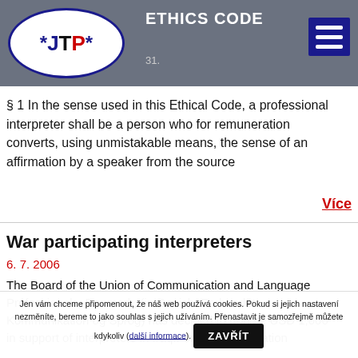ETHICS CODE
[Figure (logo): JTP logo: oval border with asterisk-J-T-P-asterisk text in blue, black, and red]
§ 1 In the sense used in this Ethical Code, a professional interpreter shall be a person who for remuneration converts, using unmistakable means, the sense of an affirmation by a speaker from the source
Více
War participating interpreters
6. 7. 2006
The Board of the Union of Communication and Language Professionals, Denmark, (in Danish: Forbundet Kommunikation og Sprog) has decided to donate USD 1,000 in support of interpreters in Iraq.For more information
Jen vám chceme připomenout, že náš web používá cookies. Pokud si jejich nastavení nezměníte, bereme to jako souhlas s jejich užíváním. Přenastavit je samozřejmě můžete kdykoliv (další informace). ZAVŘÍT